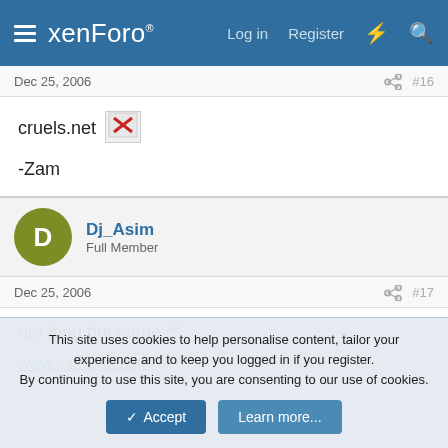xenForo | Log in | Register
Dec 25, 2006  #16
cruels.net [broken image]
-Zam
Dj_Asim Full Member
Dec 25, 2006  #17
not long but some ^^
www.milw0rm.com
This site uses cookies to help personalise content, tailor your experience and to keep you logged in if you register.
By continuing to use this site, you are consenting to our use of cookies.